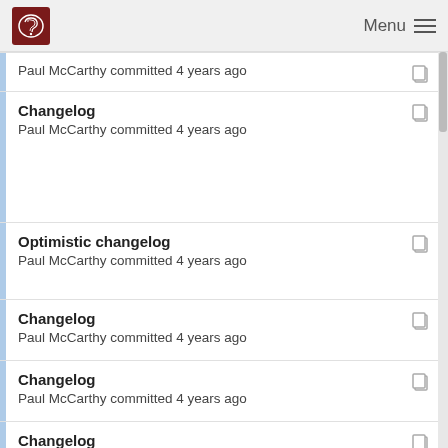Menu
Paul McCarthy committed 4 years ago
Changelog
Paul McCarthy committed 4 years ago
Optimistic changelog
Paul McCarthy committed 4 years ago
Changelog
Paul McCarthy committed 4 years ago
Changelog
Paul McCarthy committed 4 years ago
Changelog
Paul McCarthy committed 4 years ago